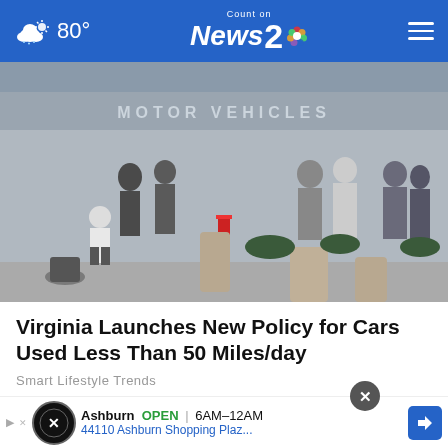80° | Count on News 2 NBC
[Figure (photo): People standing in line outside a Department of Motor Vehicles building. A child in a white sweatshirt stands in the foreground. Sign reads MOTOR VEHICLES in background.]
Virginia Launches New Policy for Cars Used Less Than 50 Miles/day
Smart Lifestyle Trends
[Figure (photo): Partial view of a US Department of the Treasury / Bureau of the Fiscal Service document, partially overlaid by an advertisement banner for Ashburn OPEN 6AM-12AM at 44110 Ashburn Shopping Plaz...]